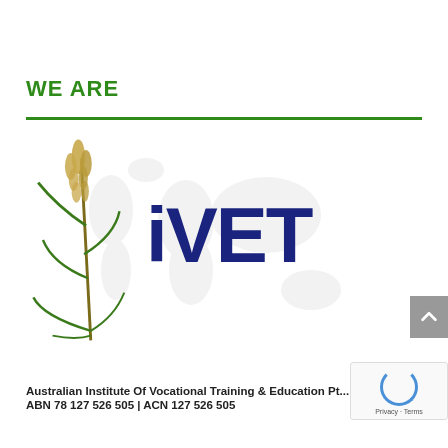WE ARE
[Figure (logo): iVET logo featuring a wheat/grain stalk on the left with a world map watermark background and bold dark blue 'iVET' text]
Australian Institute Of Vocational Training & Education Pt...
ABN 78 127 526 505 | ACN 127 526 505